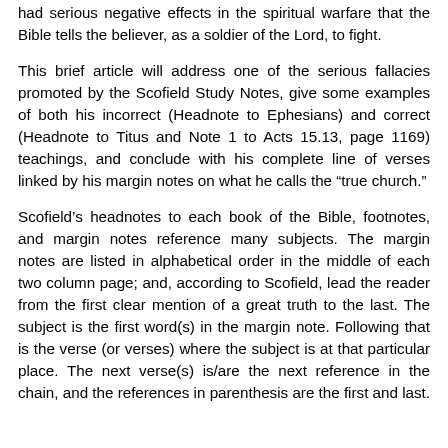had serious negative effects in the spiritual warfare that the Bible tells the believer, as a soldier of the Lord, to fight.
This brief article will address one of the serious fallacies promoted by the Scofield Study Notes, give some examples of both his incorrect (Headnote to Ephesians) and correct (Headnote to Titus and Note 1 to Acts 15.13, page 1169) teachings, and conclude with his complete line of verses linked by his margin notes on what he calls the “true church.”
Scofield’s headnotes to each book of the Bible, footnotes, and margin notes reference many subjects. The margin notes are listed in alphabetical order in the middle of each two column page; and, according to Scofield, lead the reader from the first clear mention of a great truth to the last. The subject is the first word(s) in the margin note. Following that is the verse (or verses) where the subject is at that particular place. The next verse(s) is/are the next reference in the chain, and the references in parenthesis are the first and last.